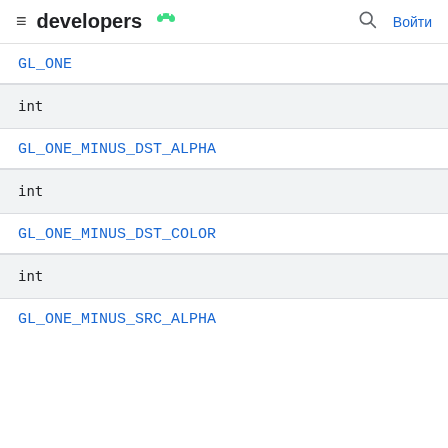developers | Войти
GL_ONE
int
GL_ONE_MINUS_DST_ALPHA
int
GL_ONE_MINUS_DST_COLOR
int
GL_ONE_MINUS_SRC_ALPHA